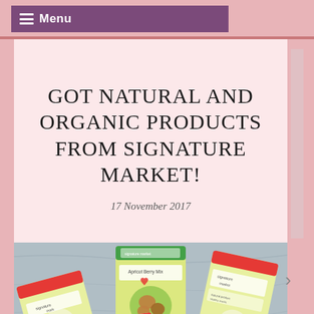Menu
GOT NATURAL AND ORGANIC PRODUCTS FROM SIGNATURE MARKET!
17 November 2017
[Figure (photo): Photo of Signature Market product bags in yellow packaging with red tops, displayed on a blue/grey surface. Multiple snack/health food bags visible including one labeled 'Apricot Berry Mix'.]